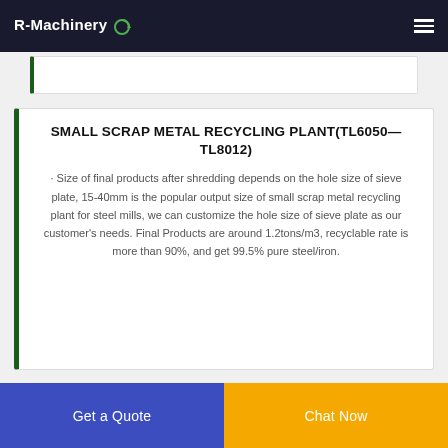R-Machinery
SMALL SCRAP METAL RECYCLING PLANT(TL6050—TL8012)
· Size of final products after shredding depends on the hole size of sieve plate, 15-40mm is the popular output size of small scrap metal recycling plant for steel mills, we can customize the hole size of sieve plate as our customer's needs. Final Products are around 1.2tons/m3, recyclable rate is more than 90%, and get 99.5% pure steel/iron.